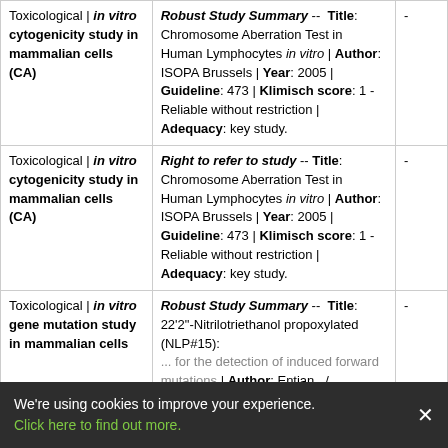| Study type | Reference |  |
| --- | --- | --- |
| Toxicological | in vitro cytogenicity study in mammalian cells (CA) | Robust Study Summary -- Title: Chromosome Aberration Test in Human Lymphocytes in vitro | Author: ISOPA Brussels | Year: 2005 | Guideline: 473 | Klimisch score: 1 - Reliable without restriction | Adequacy: key study. | - |
| Toxicological | in vitro cytogenicity study in mammalian cells (CA) | Right to refer to study -- Title: Chromosome Aberration Test in Human Lymphocytes in vitro | Author: ISOPA Brussels | Year: 2005 | Guideline: 473 | Klimisch score: 1 - Reliable without restriction | Adequacy: key study. | - |
| Toxicological | in vitro gene mutation study in mammalian cells | Robust Study Summary -- Title: 22'2"-Nitrilotriethanol propoxylated (NLP#15): ... for the detection of induced forward mutations | Author: Entian.../ ... | - |
We're using cookies to improve your experience. Click here to find out more.